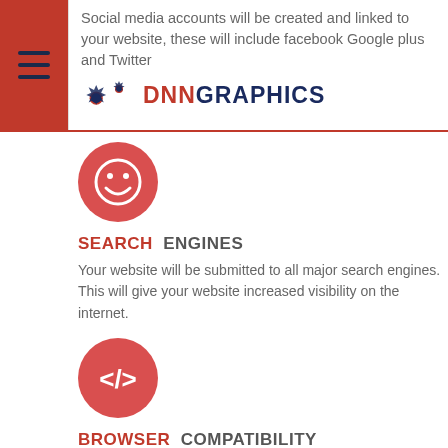Social media accounts will be created and linked to your website, these will include facebook Google plus and Twitter — DNNGRAPHICS
[Figure (logo): DNNGRAPHICS logo with gear icons in red and blue]
[Figure (illustration): Red circle with smiley face icon]
SEARCH ENGINES
Your website will be submitted to all major search engines. This will give your website increased visibility on the internet.
[Figure (illustration): Red circle with code bracket icon </> ]
BROWSER COMPATIBILITY
We will make sure your website is compatible with all major browsers for a smooth browsing experience for all users.
[Figure (illustration): Red circle with globe/world icon (partially visible at bottom)]